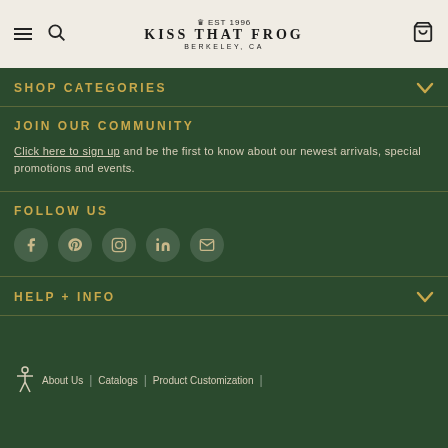Kiss That Frog - Berkeley, CA
SHOP CATEGORIES
JOIN OUR COMMUNITY
Click here to sign up and be the first to know about our newest arrivals, special promotions and events.
FOLLOW US
[Figure (infographic): Social media icons: Facebook, Pinterest, Instagram, LinkedIn, Email]
HELP + INFO
About Us | Catalogs | Product Customization |